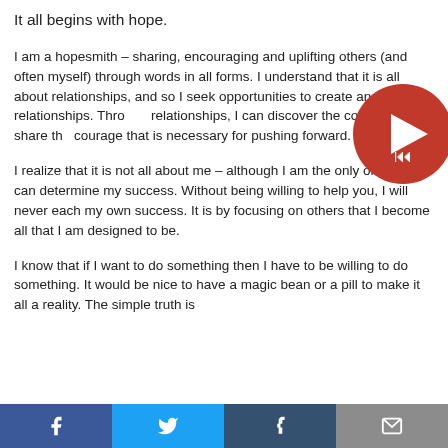It all begins with hope.
I am a hopesmith – sharing, encouraging and uplifting others (and often myself) through words in all forms. I understand that it is all about relationships, and so I seek opportunities to create and grow relationships. Through relationships, I can discover the courage and share the courage that is necessary for pushing forward.
I realize that it is not all about me – although I am the only one that can determine my success. Without being willing to help you, I will never each my own success. It is by focusing on others that I become all that I am designed to be.
I know that if I want to do something then I have to be willing to do something. It would be nice to have a magic bean or a pill to make it all a reality. The simple truth is
f  t  t  mail